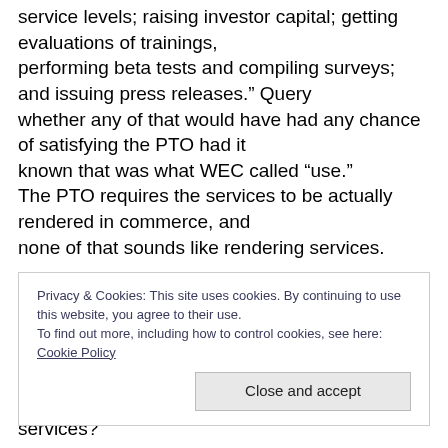service levels; raising investor capital; getting evaluations of trainings, performing beta tests and compiling surveys; and issuing press releases.” Query whether any of that would have had any chance of satisfying the PTO had it known that was what WEC called “use.” The PTO requires the services to be actually rendered in commerce, and none of that sounds like rendering services.
Privacy & Cookies: This site uses cookies. By continuing to use this website, you agree to their use. To find out more, including how to control cookies, see here: Cookie Policy
services?